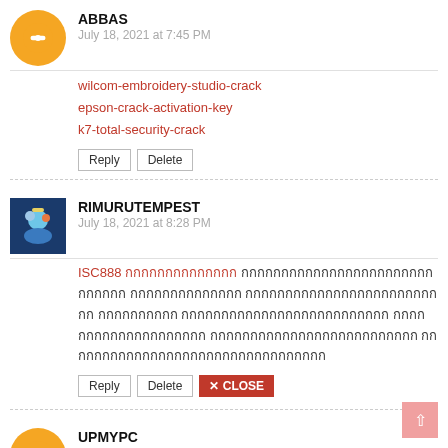ABBAS
July 18, 2021 at 7:45 PM
wilcom-embroidery-studio-crack
epson-crack-activation-key
k7-total-security-crack
Reply | Delete
RIMURUTEMPEST
July 18, 2021 at 8:28 PM
ISC888 [Thai text content]
Reply | Delete | CLOSE
UPMYPC
July 18, 2021 at 9:15 PM
picture-colorizer-pro-crack